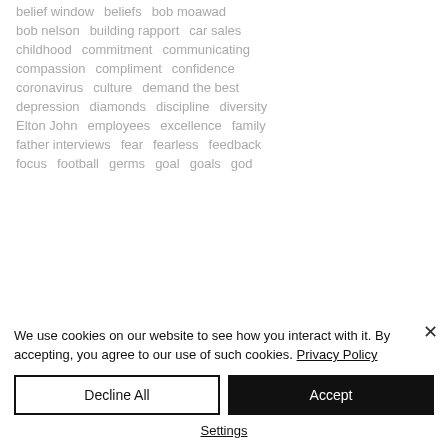belief window  beliefs  bob moawad
bob nelson  building rapport  car sales
childhood  commitment  communicating
compassion  compliment  confidence
coronavirus  culture  demand the best
depression  diamonds  discipline  diversity
Elton John  employees  excellence  family
father interviews  fear  fearless  feedback
focus  football  germs  goal  goals  god
We use cookies on our website to see how you interact with it. By accepting, you agree to our use of such cookies. Privacy Policy
Decline All
Accept
Settings